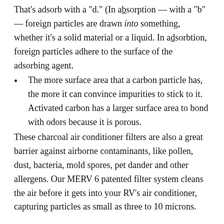That's adsorb with a "d." (In absorption — with a "b" — foreign particles are drawn into something, whether it's a solid material or a liquid. In adsorbtion, foreign particles adhere to the surface of the adsorbing agent.
The more surface area that a carbon particle has, the more it can convince impurities to stick to it. Activated carbon has a larger surface area to bond with odors because it is porous.
These charcoal air conditioner filters are also a great barrier against airborne contaminants, like pollen, dust, bacteria, mold spores, pet dander and other allergens. Our MERV 6 patented filter system cleans the air before it gets into your RV's air conditioner, capturing particles as small as three to 10 microns.